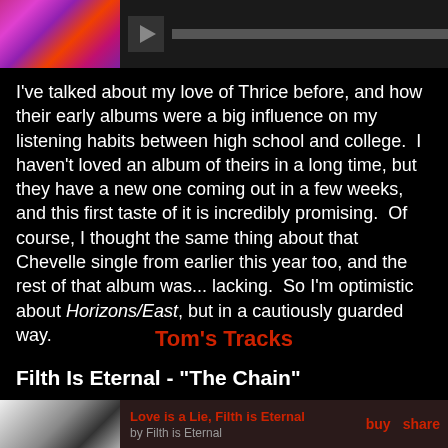[Figure (screenshot): Top bar with colorful album thumbnail and media player controls on dark background]
I've talked about my love of Thrice before, and how their early albums were a big influence on my listening habits between high school and college.  I haven't loved an album of theirs in a long time, but they have a new one coming out in a few weeks, and this first taste of it is incredibly promising.  Of course, I thought the same thing about that Chevelle single from earlier this year too, and the rest of that album was... lacking.  So I'm optimistic about Horizons/East, but in a cautiously guarded way.
Tom's Tracks
Filth Is Eternal - "The Chain"
[Figure (screenshot): Bottom music player with black and white album art thumbnail, track name 'Love is a Lie, Filth is Eternal' in red, buy and share links]